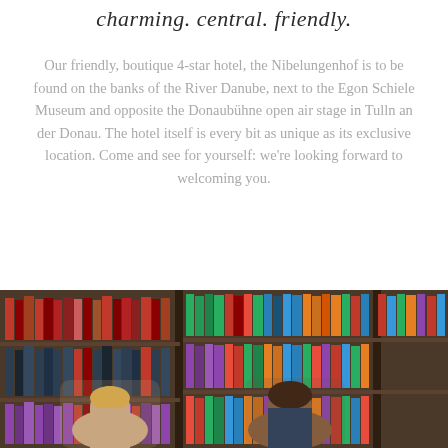charming. central. friendly.
Our friendly, boutique 4-star hotel, the Nibelungenhof is to be found on the banks of the River Danube, next to the Egon Schiele Museum and opposite the Donaubühne open air stage in Tulln an der Donau. The hotel itself is every bit as unique as its exclusive location. Come and see for yourself: we're looking forward to welcoming you.
[Figure (photo): Two people (a man and a woman) standing in front of bookshelves filled with colorful books in a library or hotel reading room setting.]